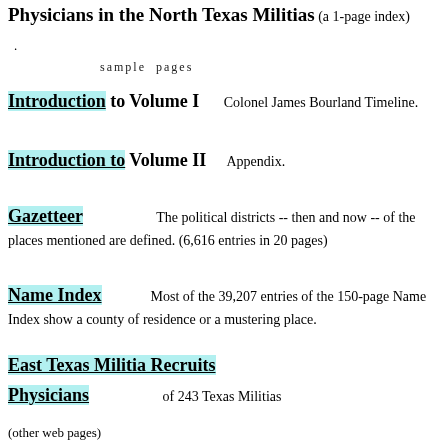Physicians in the North Texas Militias   (a 1-page index)
.
sample  pages
..
Introduction to Volume I        Colonel James Bourland Timeline.
Introduction to Volume II        Appendix.
Gazetteer        The political districts -- then and now -- of the places mentioned are defined.  (6,616 entries in 20 pages)
Name Index        Most of the 39,207 entries of the 150-page Name Index show a county of residence or a mustering place.
East Texas Militia Recruits
Physicians        of 243 Texas Militias
(other web pages)